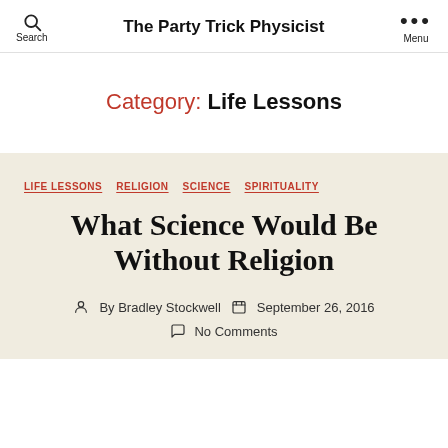The Party Trick Physicist
Category: Life Lessons
LIFE LESSONS  RELIGION  SCIENCE  SPIRITUALITY
What Science Would Be Without Religion
By Bradley Stockwell  September 26, 2016
No Comments